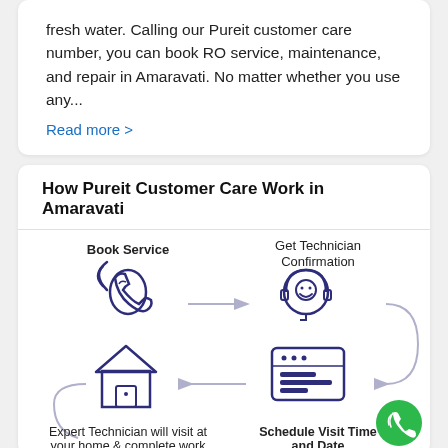fresh water. Calling our Pureit customer care number, you can book RO service, maintenance, and repair in Amaravati. No matter whether you use any…
Read more >
How Pureit Customer Care Work in Amaravati
[Figure (flowchart): Flowchart showing 4 steps: 1) Book Service (phone icon), 2) Get Technician Confirmation (headset icon), 3) Schedule Visit Time and Date (browser/calendar icon), 4) Expert Technician will visit at your home & complete work (house icon). Steps connected by arrows in a circular flow.]